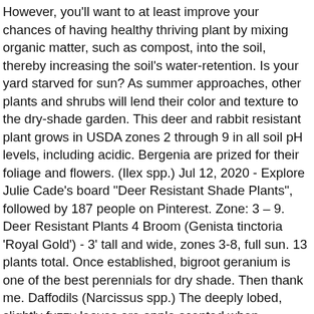However, you'll want to at least improve your chances of having healthy thriving plant by mixing organic matter, such as compost, into the soil, thereby increasing the soil's water-retention. Is your yard starved for sun? As summer approaches, other plants and shrubs will lend their color and texture to the dry-shade garden. This deer and rabbit resistant plant grows in USDA zones 2 through 9 in all soil pH levels, including acidic. Bergenia are prized for their foliage and flowers. (Ilex spp.) Jul 12, 2020 - Explore Julie Cade's board "Deer Resistant Shade Plants", followed by 187 people on Pinterest. Zone: 3 – 9. Deer Resistant Plants 4 Broom (Genista tinctoria 'Royal Gold') - 3' tall and wide, zones 3-8, full sun. 13 plants total. Once established, bigroot geranium is one of the best perennials for dry shade. Then thank me. Daffodils (Narcissus spp.) The deeply lobed, slightly fuzzy leaves are apple scented when crushed, making the plant deer and rabbit resistant. Adapts to poor soil. Combination ideas in our latest book Gardening with Foliage First. Arkansas blue star (Amsonia hubrichtii) What can I say? What is deer resistant in Jacksonville may not be deer resistant in Eagle Point or Ashland. Spring Glory